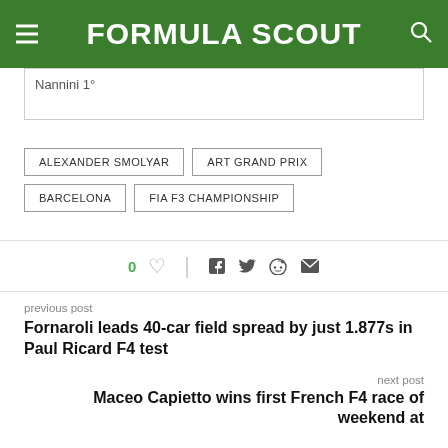FORMULA SCOUT
Nannini 1°
ALEXANDER SMOLYAR
ART GRAND PRIX
BARCELONA
FIA F3 CHAMPIONSHIP
0 ♡ | f tw reddit mail
previous post
Fornaroli leads 40-car field spread by just 1.877s in Paul Ricard F4 test
next post
Maceo Capietto wins first French F4 race of weekend at